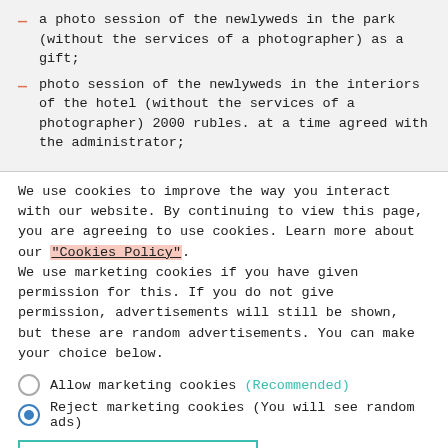a photo session of the newlyweds in the park (without the services of a photographer) as a gift;
photo session of the newlyweds in the interiors of the hotel (without the services of a photographer) 2000 rubles. at a time agreed with the administrator;
We use cookies to improve the way you interact with our website. By continuing to view this page, you are agreeing to use cookies. Learn more about our "Cookies Policy". We use marketing cookies if you have given permission for this. If you do not give permission, advertisements will still be shown, but these are random advertisements. You can make your choice below.
Allow marketing cookies (Recommended)
Reject marketing cookies (You will see random ads)
SAVE AND CONTINUE